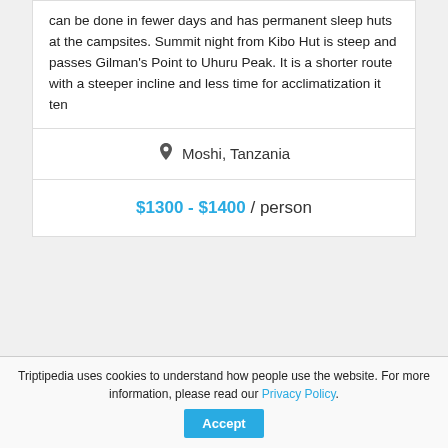can be done in fewer days and has permanent sleep huts at the campsites. Summit night from Kibo Hut is steep and passes Gilman's Point to Uhuru Peak. It is a shorter route with a steeper incline and less time for acclimatization it ten
Moshi, Tanzania
$1300 - $1400 / person
Triptipedia uses cookies to understand how people use the website. For more information, please read our Privacy Policy.
Accept